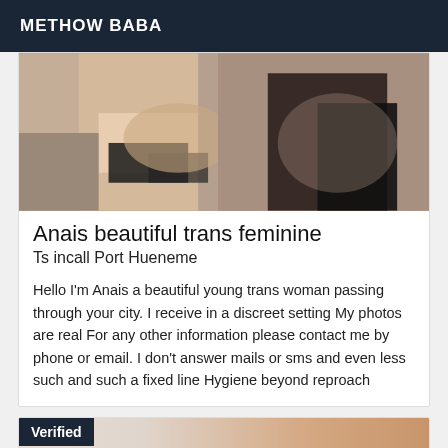METHOW BABA
[Figure (photo): Close-up photo of a person wearing black lace lingerie]
Anais beautiful trans feminine
Ts incall Port Hueneme
Hello I'm Anais a beautiful young trans woman passing through your city. I receive in a discreet setting My photos are real For any other information please contact me by phone or email. I don't answer mails or sms and even less such and such a fixed line Hygiene beyond reproach
[Figure (photo): Partial photo with a Verified badge overlay, showing light colored background and skin tones]